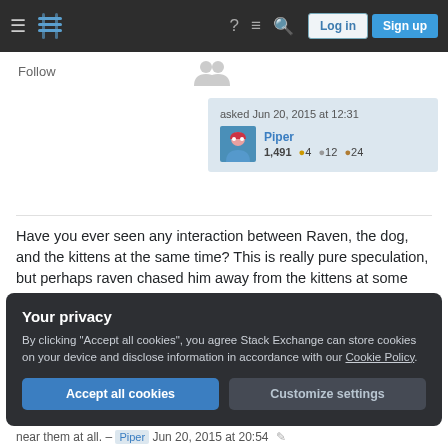Stack Exchange navigation bar with hamburger menu, logo, help, chat, search icons, Log in and Sign up buttons
Follow
asked Jun 20, 2015 at 12:31
Piper 1,491 ●4 ●12 ●24
Have you ever seen any interaction between Raven, the dog, and the kittens at the same time? This is really pure speculation, but perhaps raven chased him away from the kittens at some point, and he is reacting to that now? – Layna Jun 20, 2015 at 19:53
Your privacy
By clicking "Accept all cookies", you agree Stack Exchange can store cookies on your device and disclose information in accordance with our Cookie Policy.
Accept all cookies  Customize settings
near them at all. – Piper  Jun 20, 2015 at 20:54